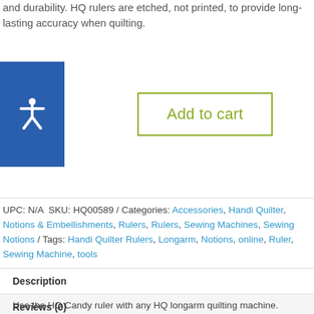and durability. HQ rulers are etched, not printed, to provide long-lasting accuracy when quilting.
[Figure (other): Blue accessibility icon button with white person/figure symbol]
[Figure (other): Add to cart button with olive-green border and text]
UPC: N/A SKU: HQ00589 / Categories: Accessories, Handi Quilter, Notions & Embellishments, Rulers, Rulers, Sewing Machines, Sewing Notions / Tags: Handi Quilter Rulers, Longarm, Notions, online, Ruler, Sewing Machine, tools
| Description |
| Reviews (0) |
Use the HQ Candy ruler with any HQ longarm quilting machine.